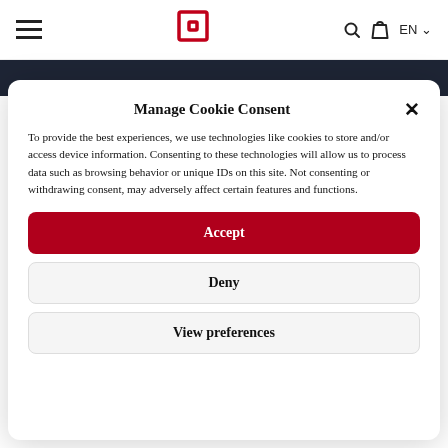[Figure (screenshot): Website navigation bar with hamburger menu icon on left, red square logo icon in center, search/cart/language controls on right]
Manage Cookie Consent
To provide the best experiences, we use technologies like cookies to store and/or access device information. Consenting to these technologies will allow us to process data such as browsing behavior or unique IDs on this site. Not consenting or withdrawing consent, may adversely affect certain features and functions.
Accept
Deny
View preferences